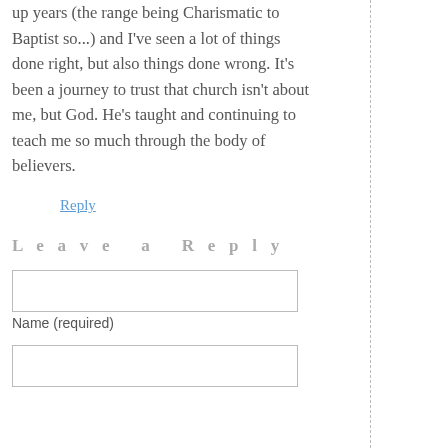up years (the range being Charismatic to Baptist so...) and I've seen a lot of things done right, but also things done wrong. It's been a journey to trust that church isn't about me, but God. He's taught and continuing to teach me so much through the body of believers.
Reply
Leave a Reply
Name (required)